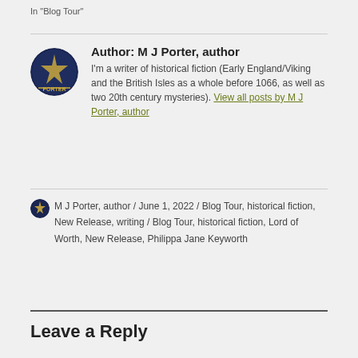In "Blog Tour"
Author: M J Porter, author
I'm a writer of historical fiction (Early England/Viking and the British Isles as a whole before 1066, as well as two 20th century mysteries). View all posts by M J Porter, author
M J Porter, author / June 1, 2022 / Blog Tour, historical fiction, New Release, writing / Blog Tour, historical fiction, Lord of Worth, New Release, Philippa Jane Keyworth
Leave a Reply